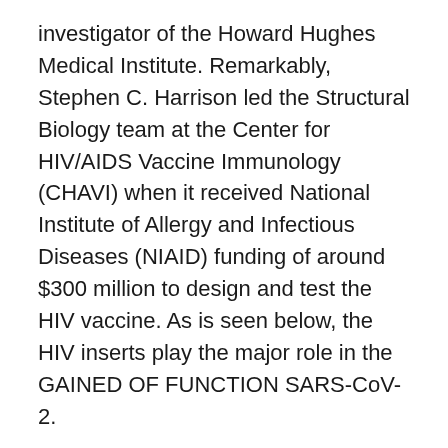investigator of the Howard Hughes Medical Institute. Remarkably, Stephen C. Harrison led the Structural Biology team at the Center for HIV/AIDS Vaccine Immunology (CHAVI) when it received National Institute of Allergy and Infectious Diseases (NIAID) funding of around $300 million to design and test the HIV vaccine. As is seen below, the HIV inserts play the major role in the GAINED OF FUNCTION SARS-CoV-2.
The research by Fang Li proves that there can be no direct transmission of SARS-CoV between bats and humans without an intermediate host. The argument that the closely related viruses in human can be a bridge for the SARS-CoV transmission from bats to humans does not hold, according to Dr. Fang Li research.
The Wuhan lab worked with the CLOSEST known relative